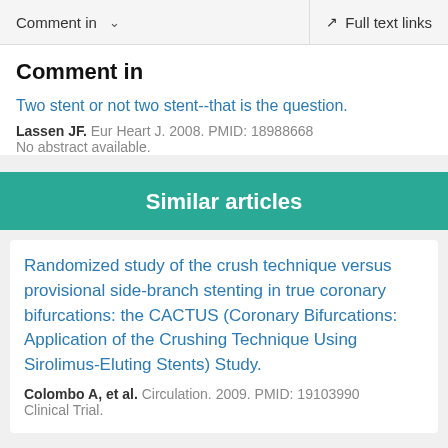Comment in   ∨   Full text links
Comment in
Two stent or not two stent--that is the question.
Lassen JF. Eur Heart J. 2008. PMID: 18988668
No abstract available.
Similar articles
Randomized study of the crush technique versus provisional side-branch stenting in true coronary bifurcations: the CACTUS (Coronary Bifurcations: Application of the Crushing Technique Using Sirolimus-Eluting Stents) Study.
Colombo A, et al. Circulation. 2009. PMID: 19103990
Clinical Trial.